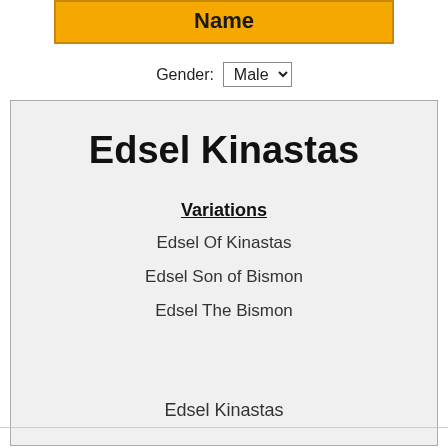Name
Gender: Male
Edsel Kinastas
Variations
Edsel Of Kinastas
Edsel Son of Bismon
Edsel The Bismon
Edsel Kinastas